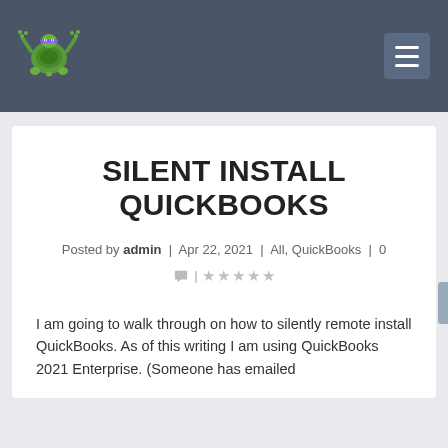Silent Install QuickBooks — website header with logo and menu button
SILENT INSTALL QUICKBOOKS
Posted by admin | Apr 22, 2021 | All, QuickBooks | 0 | ★★★★★ |
I am going to walk through on how to silently remote install QuickBooks. As of this writing I am using QuickBooks 2021 Enterprise. (Someone has emailed